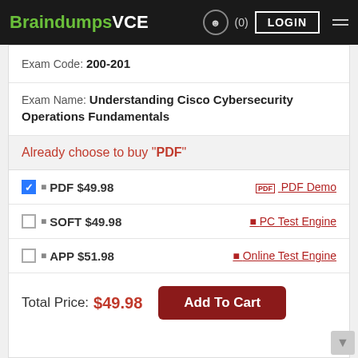BraindumpsVCE (0) LOGIN
Exam Code: 200-201
Exam Name: Understanding Cisco Cybersecurity Operations Fundamentals
Already choose to buy "PDF"
☑ PDF $49.98 — PDF Demo
☐ SOFT $49.98 — PC Test Engine
☐ APP $51.98 — Online Test Engine
Total Price: $49.98  Add To Cart